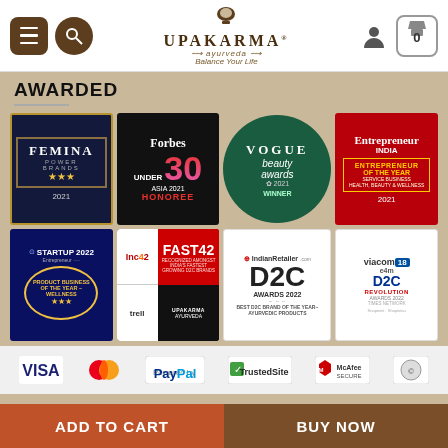Upakarma Ayurveda — Balance Your Life — Navigation bar with menu, search, logo, account, cart
AWARDED
[Figure (infographic): Grid of 8 award badges: Femina Power Brands 2021, Forbes Under 30 Asia 2021 Honoree, Vogue Beauty Awards 2021 Winner, Entrepreneur India Entrepreneur of the Year 2021, Startup 2022 Product Business of the Year Wellness, Fast 42 Recognized Amongst India's Fastest Growing D2C Brands (Inc42/Trell/Upakarma Ayurveda), IndianRetailer.com D2C Awards 2022 Best D2C Brand of the Year Ayurvedic Products, Viacom18 e4m D2C Revolution Awards]
[Figure (infographic): Payment trust badges: VISA, Mastercard, PayPal, TrustedSite, McAfee Secure, Protected (partially visible)]
ADD TO CART | BUY NOW